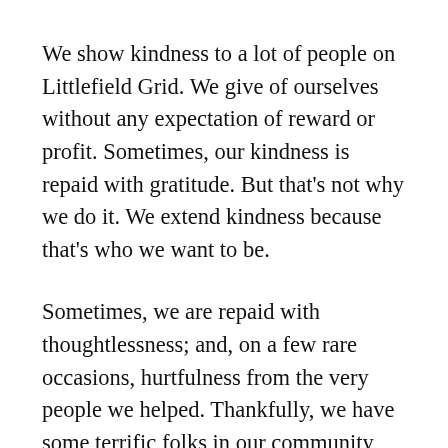We show kindness to a lot of people on Littlefield Grid. We give of ourselves without any expectation of reward or profit. Sometimes, our kindness is repaid with gratitude. But that's not why we do it. We extend kindness because that's who we want to be.
Sometimes, we are repaid with thoughtlessness; and, on a few rare occasions, hurtfulness from the very people we helped. Thankfully, we have some terrific folks in our community, and that rarely happens. When it does, we could be resentful. But we aren't. We keep right on extending kindness. And we